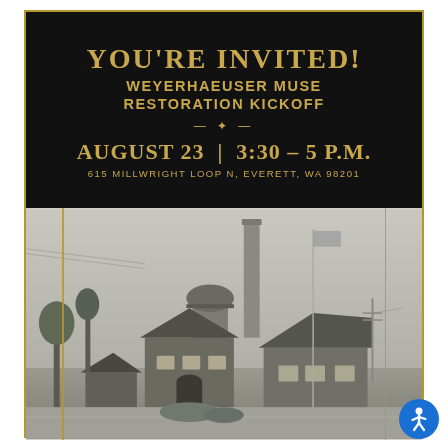YOU'RE INVITED!
WEYERHAEUSER MUSE RESTORATION KICKOFF
AUGUST 23 | 3:30 – 5 P.M.
615 MILLWRIGHT LOOP N, EVERETT, WA 98201
[Figure (photo): Black and white historical photograph of the Weyerhaeuser Muse building, showing a craftsman-style structure with a prominent water tower and tall smokestacks in the background]
[Figure (logo): Blue circular accessibility icon (wheelchair user figure)]